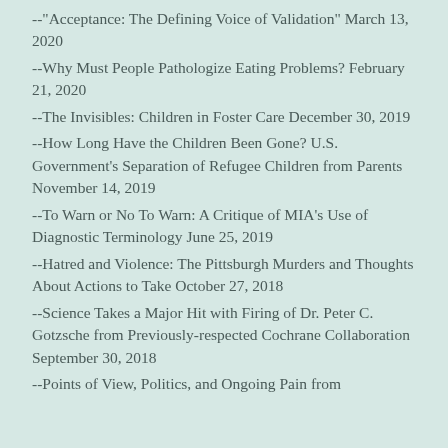--"Acceptance: The Defining Voice of Validation" March 13, 2020
--Why Must People Pathologize Eating Problems? February 21, 2020
--The Invisibles: Children in Foster Care December 30, 2019
--How Long Have the Children Been Gone? U.S. Government's Separation of Refugee Children from Parents November 14, 2019
--To Warn or No To Warn: A Critique of MIA's Use of Diagnostic Terminology June 25, 2019
--Hatred and Violence: The Pittsburgh Murders and Thoughts About Actions to Take October 27, 2018
--Science Takes a Major Hit with Firing of Dr. Peter C. Gotzsche from Previously-respected Cochrane Collaboration September 30, 2018
--Points of View, Politics, and Ongoing Pain from